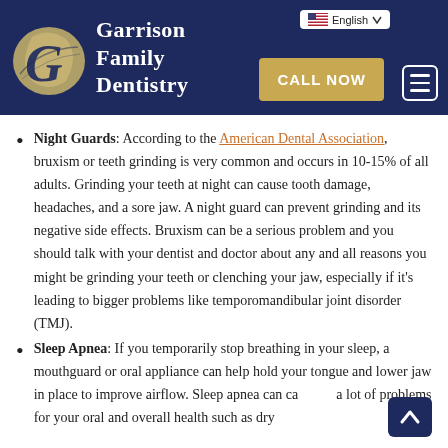Garrison Family Dentistry — navigation header with Call Now button and English language selector
Night Guards: According to the American Dental Association, bruxism or teeth grinding is very common and occurs in 10-15% of all adults. Grinding your teeth at night can cause tooth damage, headaches, and a sore jaw. A night guard can prevent grinding and its negative side effects. Bruxism can be a serious problem and you should talk with your dentist and doctor about any and all reasons you might be grinding your teeth or clenching your jaw, especially if it's leading to bigger problems like temporomandibular joint disorder (TMJ).
Sleep Apnea: If you temporarily stop breathing in your sleep, a mouthguard or oral appliance can help hold your tongue and lower jaw in place to improve airflow. Sleep apnea can cause a lot of problems for your oral and overall health such as dry